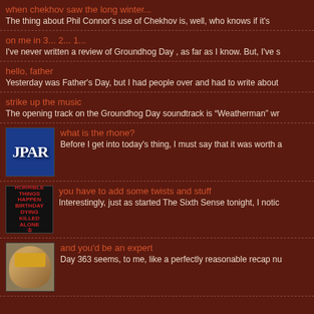when chekhov saw the long winter...
The thing about Phil Connor's use of Chekhov is, well, who knows if it's
on me in 3... 2... 1...
I've never written a review of Groundhog Day , as far as I know. But, I've s
hello, father
Yesterday was Father's Day, but I had people over and had to write about
strike up the music
The opening track on the Groundhog Day soundtrack is “Weatherman” wr
what is the rhone?
Before I get into today's thing, I must say that it was worth a
you have to add some twists and stuff
Interestingly, just as started The Sixth Sense tonight, I notic
and you'd be an expert
Day 363 seems, to me, like a perfectly reasonable recap nu